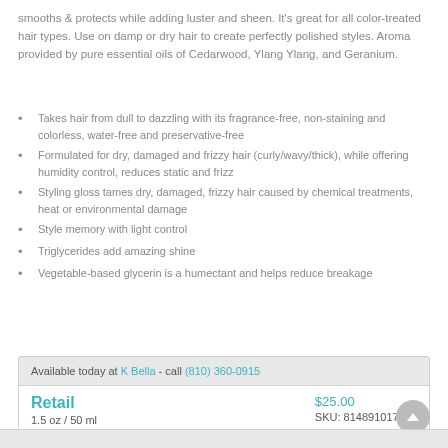smooths & protects while adding luster and sheen. It's great for all color-treated hair types. Use on damp or dry hair to create perfectly polished styles. Aroma provided by pure essential oils of Cedarwood, Ylang Ylang, and Geranium.
Takes hair from dull to dazzling with its fragrance-free, non-staining and colorless, water-free and preservative-free
Formulated for dry, damaged and frizzy hair (curly/wavy/thick), while offering humidity control, reduces static and frizz
Styling gloss tames dry, damaged, frizzy hair caused by chemical treatments, heat or environmental damage
Style memory with light control
Triglycerides add amazing shine
Vegetable-based glycerin is a humectant and helps reduce breakage
| Retail | $25.00 |
| --- | --- |
| 1.5 oz / 50 ml | SKU: 814891017319 |